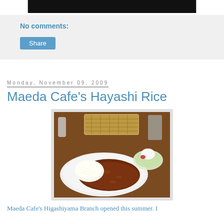[Figure (photo): Partial top of a food/drink photo, showing bottom edge of image with dark background]
No comments:
Share
Monday, November 09, 2009
Maeda Cafe's Hayashi Rice
[Figure (photo): Photo of Hayashi Rice dish: a white plate with white rice and dark brown beef stew sauce, alongside a glass bowl with salad and a wicker bread basket on a wooden table]
Maeda Cafe's Higashiyama Branch opened this summer. I